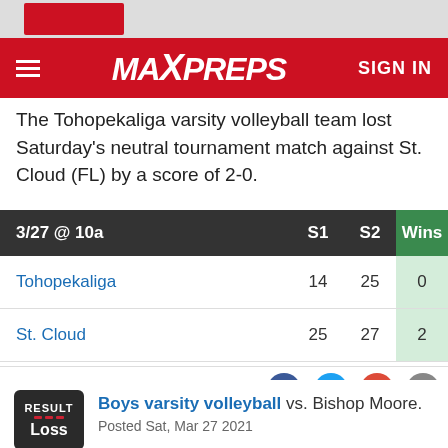[Figure (screenshot): MaxPreps website header with red background, hamburger menu, MaxPreps logo in white italic, and SIGN IN text on the right.]
The Tohopekaliga varsity volleyball team lost Saturday's neutral tournament match against St. Cloud (FL) by a score of 2-0.
| 3/27 @ 10a | S1 | S2 | Wins |
| --- | --- | --- | --- |
| Tohopekaliga | 14 | 25 | 0 |
| St. Cloud | 25 | 27 | 2 |
Box score
Boys varsity volleyball vs. Bishop Moore. Posted Sat, Mar 27 2021